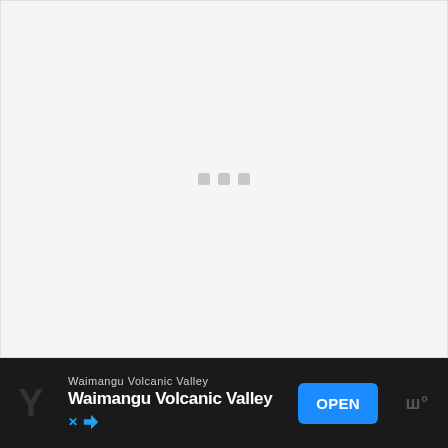[Figure (other): Large light grey loading/placeholder area with three small grey square dots centered in the middle, indicating a loading state for an image or video.]
Waimangu Volcanic Valley
Waimangu Volcanic Valley
OPEN